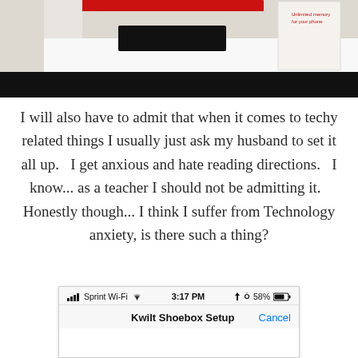[Figure (photo): Photo of a black rectangular device (Kwilt Shoebox) on a white surface, with a white product box visible on the right, and a red top element. The lower portion of the image is a solid black bar.]
I will also have to admit that when it comes to techy related things I usually just ask my husband to set it all up.   I get anxious and hate reading directions.   I know... as a teacher I should not be admitting it.   Honestly though... I think I suffer from Technology anxiety, is there such a thing?
[Figure (screenshot): iPhone screenshot showing status bar with Sprint Wi-Fi, 3:17 PM, 58% battery, and an app screen header reading 'Kwilt Shoebox Setup' with a 'Cancel' button.]